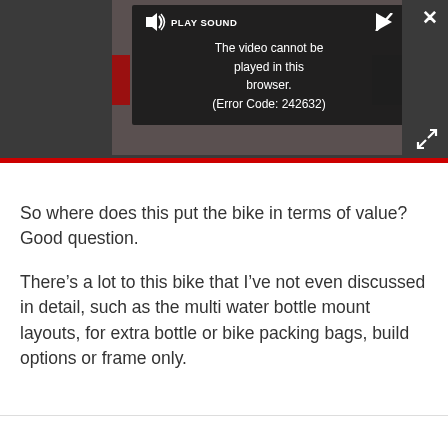[Figure (screenshot): Video player showing error message: 'The video cannot be played in this browser. (Error Code: 242632)' with Play Sound button and dark overlay on a video frame background.]
So where does this put the bike in terms of value? Good question.
There’s a lot to this bike that I’ve not even discussed in detail, such as the multi water bottle mount layouts, for extra bottle or bike packing bags, build options or frame only.